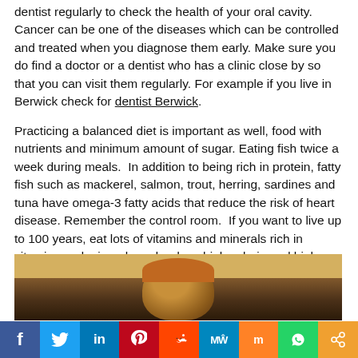dentist regularly to check the health of your oral cavity. Cancer can be one of the diseases which can be controlled and treated when you diagnose them early. Make sure you do find a doctor or a dentist who has a clinic close by so that you can visit them regularly. For example if you live in Berwick check for dentist Berwick.
Practicing a balanced diet is important as well, food with nutrients and minimum amount of sugar. Eating fish twice a week during meals.  In addition to being rich in protein, fatty fish such as mackerel, salmon, trout, herring, sardines and tuna have omega-3 fatty acids that reduce the risk of heart disease. Remember the control room.  If you want to live up to 100 years, eat lots of vitamins and minerals rich in vitamins and minerals and reduce high calorie and high sugar foods. Foods rich in sugar can also cause dental problems.
[Figure (photo): Partial photo of a person wearing an orange/brown hat, visible from about mid-face upward, against a warm-toned background.]